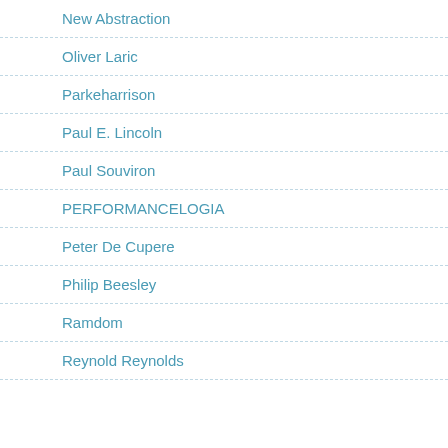New Abstraction
Oliver Laric
Parkeharrison
Paul E. Lincoln
Paul Souviron
PERFORMANCELOGIA
Peter De Cupere
Philip Beesley
Ramdom
Reynold Reynolds